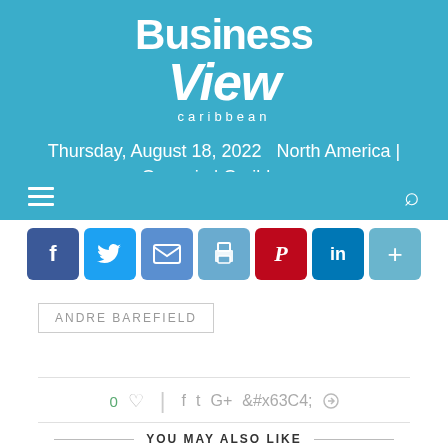Business View Caribbean
Thursday, August 18, 2022   North America | Oceania | Caribbean
[Figure (infographic): Social share buttons: Facebook, Twitter, Email, Print, Pinterest, LinkedIn, Share]
ANDRE BAREFIELD
0 ♡  f  t  G+  p
YOU MAY ALSO LIKE